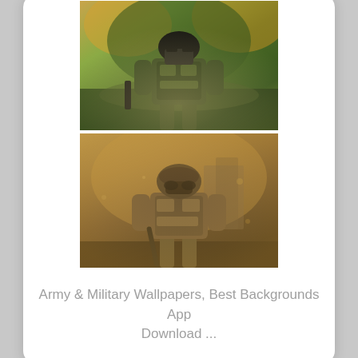[Figure (photo): Two stacked photos of soldiers in military gear. Top photo: a soldier in green camouflage with a balaclava and helmet walking through autumn foliage. Bottom photo: a soldier in desert camouflage carrying a rifle in a foggy, dusty environment.]
Army & Military Wallpapers, Best Backgrounds App Download ...